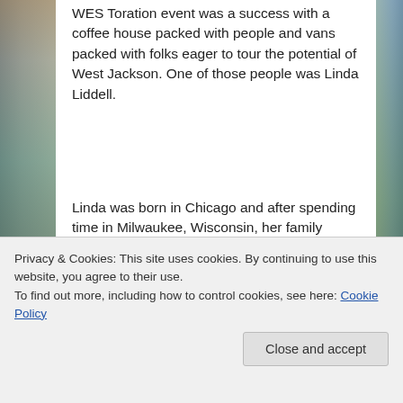WES Toration event was a success with a coffee house packed with people and vans packed with folks eager to tour the potential of West Jackson. One of those people was Linda Liddell.
[Figure (photo): Background photo strip on left side showing buildings and greenery; right side showing greenery/trees]
Linda was born in Chicago and after spending time in Milwaukee, Wisconsin, her family moved to Jackson in 1973. When they first moved to Jackson, Linda's parents rented a home on Miller Avenue in North Jackson and eventually came to rent a home on
time out of the state. Linda is back in West Jackson
Privacy & Cookies: This site uses cookies. By continuing to use this website, you agree to their use.
To find out more, including how to control cookies, see here: Cookie Policy